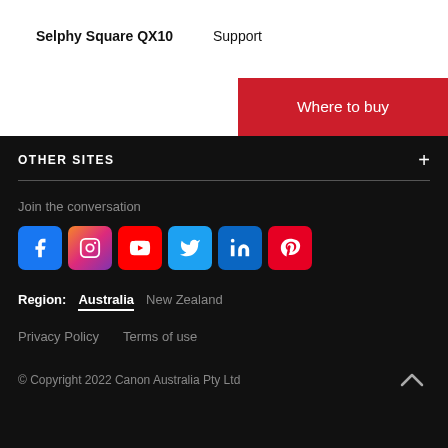Selphy Square QX10   Support
Where to buy
OTHER SITES
Join the conversation
[Figure (other): Social media icons: Facebook, Instagram, YouTube, Twitter, LinkedIn, Pinterest]
Region: Australia  New Zealand
Privacy Policy   Terms of use
© Copyright 2022 Canon Australia Pty Ltd